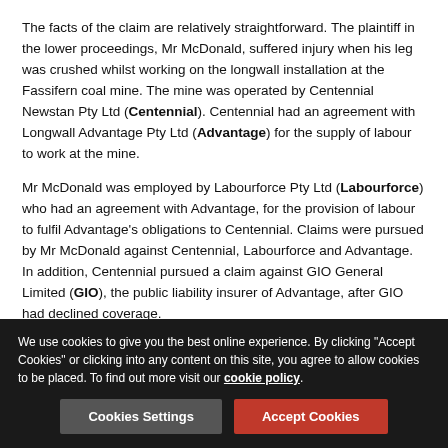The facts of the claim are relatively straightforward. The plaintiff in the lower proceedings, Mr McDonald, suffered injury when his leg was crushed whilst working on the longwall installation at the Fassifern coal mine. The mine was operated by Centennial Newstan Pty Ltd (Centennial). Centennial had an agreement with Longwall Advantage Pty Ltd (Advantage) for the supply of labour to work at the mine.
Mr McDonald was employed by Labourforce Pty Ltd (Labourforce) who had an agreement with Advantage, for the provision of labour to fulfil Advantage's obligations to Centennial. Claims were pursued by Mr McDonald against Centennial, Labourforce and Advantage. In addition, Centennial pursued a claim against GIO General Limited (GIO), the public liability insurer of Advantage, after GIO had declined coverage.
First Instance
We use cookies to give you the best online experience. By clicking "Accept Cookies" or clicking into any content on this site, you agree to allow cookies to be placed. To find out more visit our cookie policy.